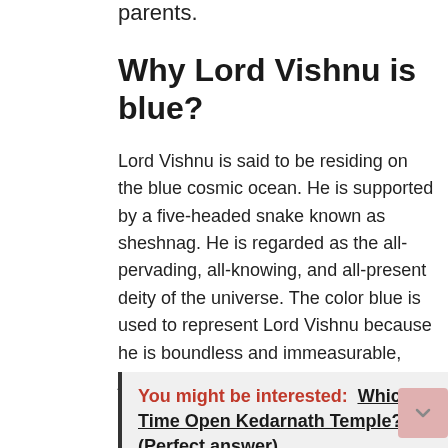parents.
Why Lord Vishnu is blue?
Lord Vishnu is said to be residing on the blue cosmic ocean. He is supported by a five-headed snake known as sheshnag. He is regarded as the all-pervading, all-knowing, and all-present deity of the universe. The color blue is used to represent Lord Vishnu because he is boundless and immeasurable, just like the sky, and is encircled by the vast cosmic ocean.
You might be interested:  Which Time Open Kedarnath Temple? (Perfect answer)